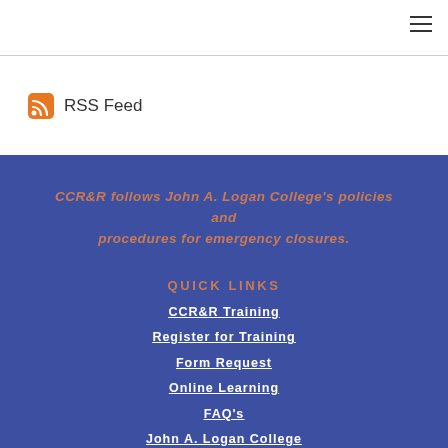[Figure (other): RSS Feed icon with orange rounded square background and white signal symbol]
RSS Feed
CCR&R follows John A. Logan College's policies and procedures for emergency closures.
QUICK LINKS
CCR&R Training
Register for Training
Form Request
Online Learning
FAQ's
John A. Logan College